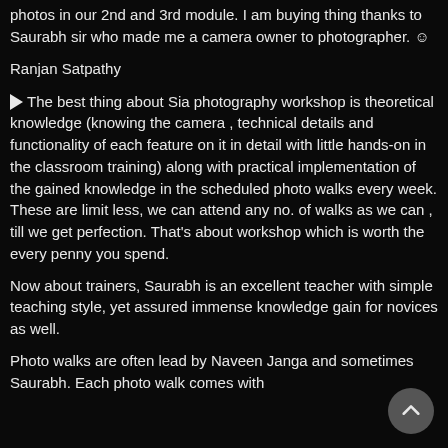photos in our 2nd and 3rd module. I am buying thing thanks to Saurabh sir who made me a camera owner to photographer. 😊
Ranjan Satpathy
▶ The best thing about Sia photography workshop is theoretical knowledge (knowing the camera , technical details and functionality of each feature on it in detail with little hands-on in the classroom training) along with practical implementation of the gained knowledge in the scheduled photo walks every week. These are limit less, we can attend any no. of walks as we can , till we get perfection. That's about workshop which is worth the every penny you spend.
Now about trainers, Saurabh is an excellent teacher with simple teaching style, yet assured immense knowledge gain for novices as well.
Photo walks are often lead by Naveen Janga and sometimes Saurabh. Each photo walk comes with